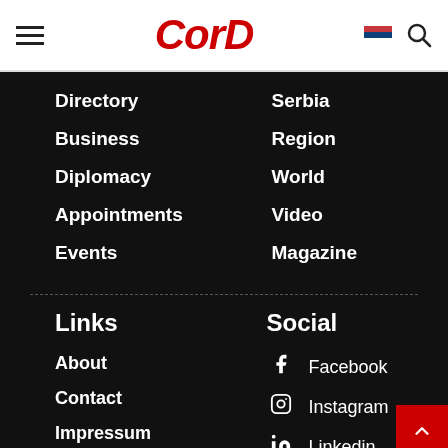CorD
Directory
Business
Diplomacy
Appointments
Events
Serbia
Region
World
Video
Magazine
Links
Social
About
Contact
Impressum
Subscribe
Facebook
Instagram
Linkedin
Twitter
Za ljeto koje stvara uspomene